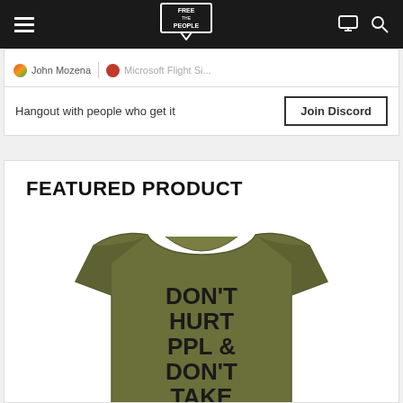Free People (navigation bar with hamburger menu, logo, monitor icon, search icon)
John Mozena   Microsoft Flight Si...
Hangout with people who get it
Join Discord
FEATURED PRODUCT
[Figure (photo): Olive/army green t-shirt with bold black text reading: DON'T HURT PPL & DON'T TAKE THEIR STUFF]